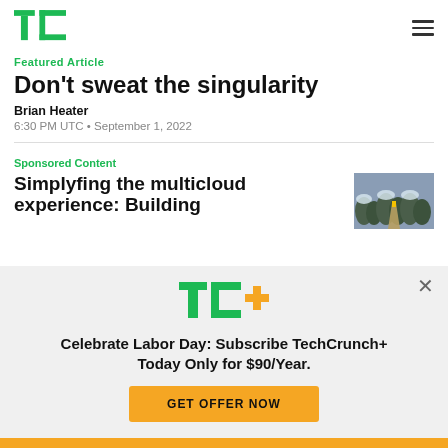TechCrunch logo and navigation
Featured Article
Don't sweat the singularity
Brian Heater
6:30 PM UTC • September 1, 2022
Sponsored Content
Simplyfing the multicloud experience: Building
[Figure (photo): Aerial winter forest photo with yellow road]
Celebrate Labor Day: Subscribe TechCrunch+ Today Only for $90/Year.
GET OFFER NOW